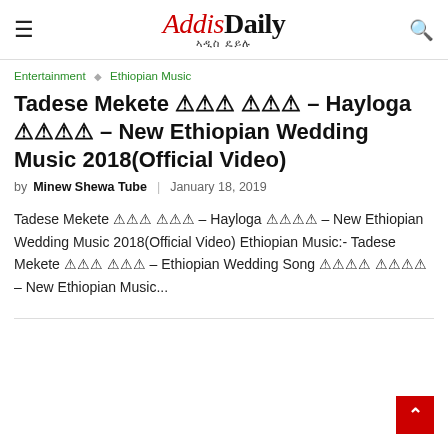Addis Daily አዲስ ዴይሊ
Entertainment ◇ Ethiopian Music
Tadese Mekete [?][?][?] [?][?][?] – Hayloga [?][?][?][?] – New Ethiopian Wedding Music 2018(Official Video)
by Minew Shewa Tube | January 18, 2019
Tadese Mekete ሃጅ ሃጅ – Hayloga ሃጅሃጅ – New Ethiopian Wedding Music 2018(Official Video) Ethiopian Music:- Tadese Mekete ሃጅ ሃጅ – Ethiopian Wedding Song ሃጅሃጅ ሃጅሃጅ – New Ethiopian Music...